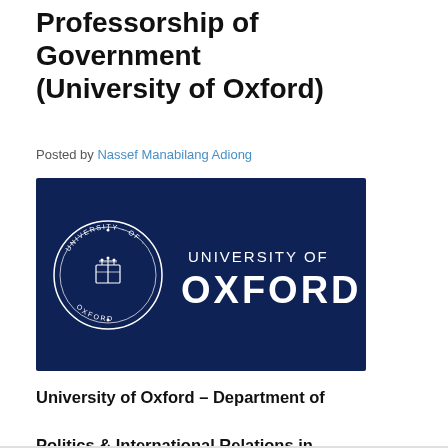Professorship of Government (University of Oxford)
Posted by Nassef Manabilang Adiong
[Figure (logo): University of Oxford logo on dark navy blue background, with circular seal on the left and 'UNIVERSITY OF OXFORD' text on the right in white.]
University of Oxford – Department of Politics & International Relations in association with Christ Church